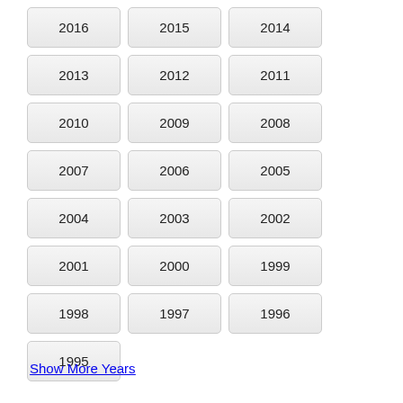2016
2015
2014
2013
2012
2011
2010
2009
2008
2007
2006
2005
2004
2003
2002
2001
2000
1999
1998
1997
1996
1995
Show More Years